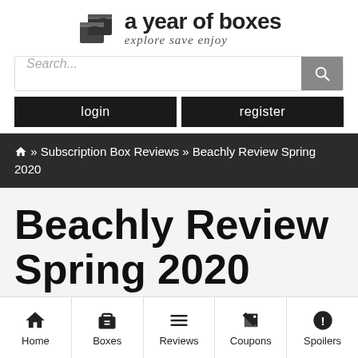[Figure (logo): A Year of Boxes logo with box icon, bold text 'a year of boxes' and cursive tagline 'explore save enjoy']
Search...
login
register
🏠 » Subscription Box Reviews » Beachly Review Spring 2020
Beachly Review Spring 2020
Home | Boxes | Reviews | Coupons | Spoilers